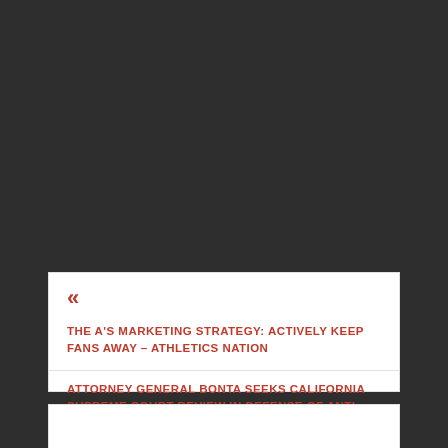«
THE A'S MARKETING STRATEGY: ACTIVELY KEEP FANS AWAY – ATHLETICS NATION
ATTORNEY GENERAL BONTA SEEKS CALIFORNIA SUPREME COURT REVIEW IN DEFENSE OF ANTI-DISCRIMINATION PROTECTIONS FOR LGBTQ SENIORS, LONG-TERM CARE RESIDENTS – CALIFORNIA DEPARTMENT OF JUSTICE
»